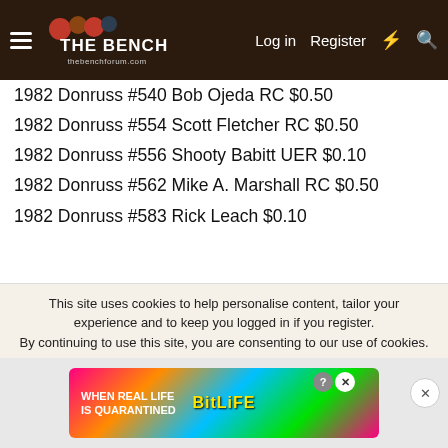The Bench - thebenchforum.com
1982 Donruss #540 Bob Ojeda RC $0.50
1982 Donruss #554 Scott Fletcher RC $0.50
1982 Donruss #556 Shooty Babitt UER $0.10
1982 Donruss #562 Mike A. Marshall RC $0.50
1982 Donruss #583 Rick Leach $0.10
1982 Donruss #588 Luis DeLeon $0.10
1982 Donruss #596 Bryan Clark RC $0.15
1982 Donruss #610 Bob Bonner $0.10 x2
1982 Donruss #615 Gene Roof UER $0.10
1982 Donruss #616 Keith Drumwright $0.10 x8
1982 Donruss #618 Rickey Keeton $0.10
1982 Donruss #622 Luis Aguayo $0.10
1982 Donruss #631 Kevin Hickey RC $0.15
1982 Donruss #649 Ron Gardenhire RC $0.50
This site uses cookies to help personalise content, tailor your experience and to keep you logged in if you register. By continuing to use this site, you are consenting to our use of cookies.
[Figure (advertisement): BitLife mobile game advertisement with rainbow background, text 'WHEN REAL LIFE IS QUARANTINED' on left and 'BitLife' logo in center.]